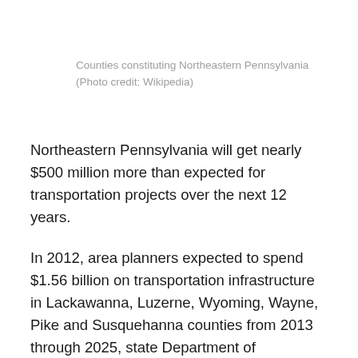Counties constituting Northeastern Pennsylvania (Photo credit: Wikipedia)
Northeastern Pennsylvania will get nearly $500 million more than expected for transportation projects over the next 12 years.
In 2012, area planners expected to spend $1.56 billion on transportation infrastructure in Lackawanna, Luzerne, Wyoming, Wayne, Pike and Susquehanna counties from 2013 through 2025, state Department of Transportation spokesman Michael Taluto said.
Gov. Tom Corbett signed the new transportation funding package in November, and transportation planners in the